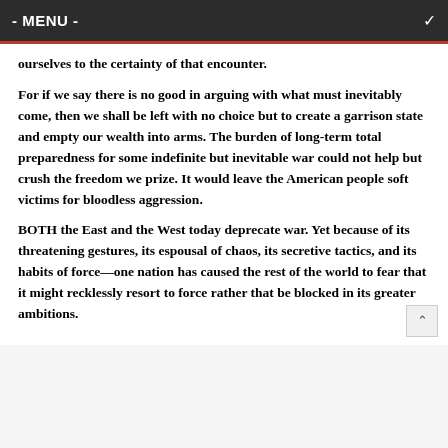- MENU -
ourselves to the certainty of that encounter.
For if we say there is no good in arguing with what must inevitably come, then we shall be left with no choice but to create a garrison state and empty our wealth into arms. The burden of long-term total preparedness for some indefinite but inevitable war could not help but crush the freedom we prize. It would leave the American people soft victims for bloodless aggression.
BOTH the East and the West today deprecate war. Yet because of its threatening gestures, its espousal of chaos, its secretive tactics, and its habits of force—one nation has caused the rest of the world to fear that it might recklessly resort to force rather that be blocked in its greater ambitions.